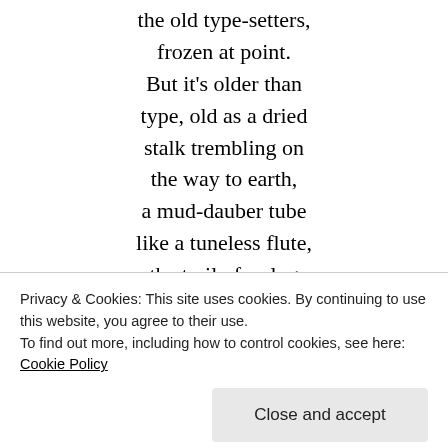the old type-setters,
frozen at point.
But it's older than
type, old as a dried
stalk trembling on
the way to earth,
a mud-dauber tube
like a tuneless flute,
the trail of a slug
down the moss face
of a cliff, a severed
finger packed in ice,
Privacy & Cookies: This site uses cookies. By continuing to use this website, you agree to their use.
To find out more, including how to control cookies, see here: Cookie Policy
the fossilized thigh-